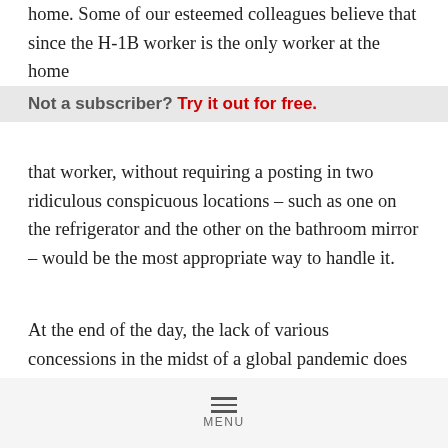home. Some of our esteemed colleagues believe that since the H-1B worker is the only worker at the home
Not a subscriber? Try it out for free.
that worker, without requiring a posting in two ridiculous conspicuous locations – such as one on the refrigerator and the other on the bathroom mirror – would be the most appropriate way to handle it.
At the end of the day, the lack of various concessions in the midst of a global pandemic does nothing to ease fears that employers who fail (with good reason) to properly post the LCA for their H-1B workers could be penalized following a DOL audit. Knowing the various issues employers face during the pandemic, will the chances of an audit
MENU